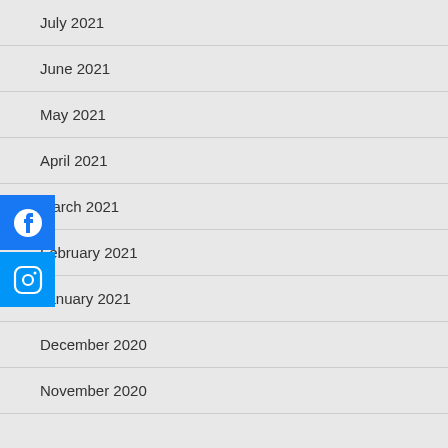July 2021
June 2021
May 2021
April 2021
March 2021
February 2021
January 2021
December 2020
November 2020
[Figure (logo): Facebook and Instagram social media icon buttons overlaid on left side]